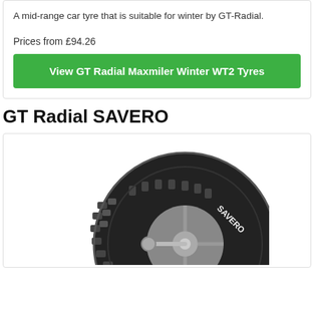A mid-range car tyre that is suitable for winter by GT-Radial.
Prices from £94.26
View GT Radial Maxmiler Winter WT2 Tyres
GT Radial SAVERO
[Figure (photo): GT Radial SAVERO tyre product image showing the tyre tread pattern with SAVERO lettering on the sidewall]